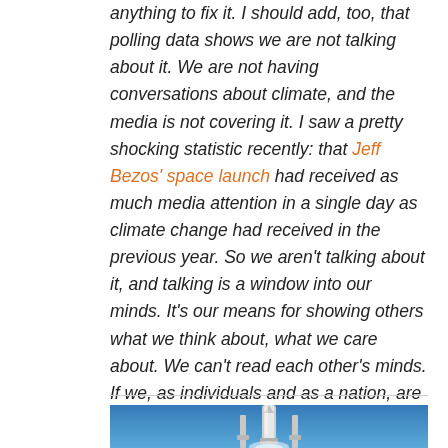anything to fix it. I should add, too, that polling data shows we are not talking about it. We are not having conversations about climate, and the media is not covering it. I saw a pretty shocking statistic recently: that Jeff Bezos' space launch had received as much media attention in a single day as climate change had received in the previous year. So we aren't talking about it, and talking is a window into our minds. It's our means for showing others what we think about, what we care about. We can't read each other's minds. If we, as individuals and as a nation, are not talking about climate change, then it will never receive the priority that it requires..."
[Figure (photo): Partial view of a rocket or launch vehicle against a blue sky, shown from below looking up, with industrial structures visible]